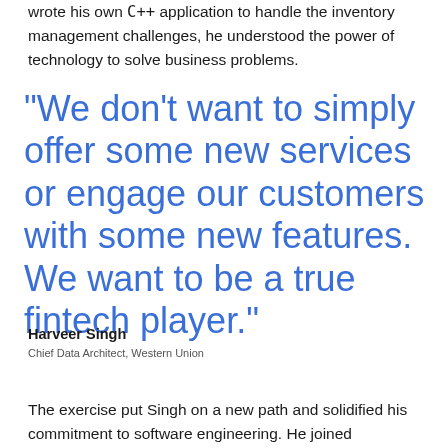wrote his own C++ application to handle the inventory management challenges, he understood the power of technology to solve business problems.
“We don’t want to simply offer some new services or engage our customers with some new features. We want to be a true fintech player.”
Harveer Singh
Chief Data Architect, Western Union
The exercise put Singh on a new path and solidified his commitment to software engineering. He joined Accenture as an information management consultant and spent six